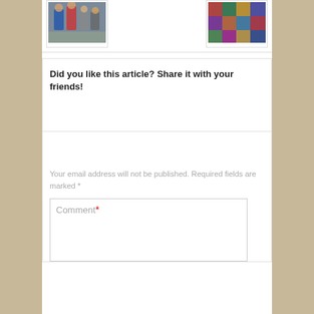[Figure (photo): Partial view of two photos at top of page - left shows people in colorful clothing, right shows a colorful quilt or blanket]
Did you like this article? Share it with your friends!
Your email address will not be published. Required fields are marked *
Comment *